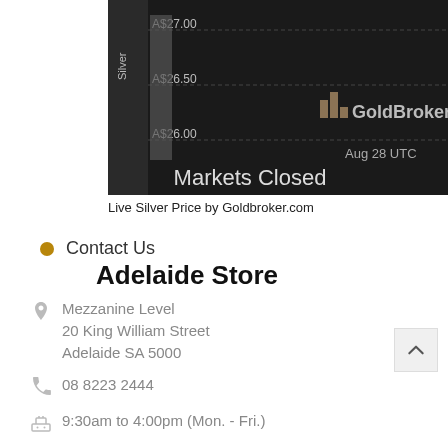[Figure (continuous-plot): Partial view of a live silver price chart from GoldBroker.com showing price range A$26.00 to A$27.00 on Aug 28 UTC. Dark background with 'Markets Closed' text and GoldBroker logo visible. Y-axis shows Silver label.]
Live Silver Price by Goldbroker.com
Contact Us
Adelaide Store
Mezzanine Level
20 King William Street
Adelaide SA 5000
08 8223 2444
9:30am to 4:00pm (Mon. - Fri.)